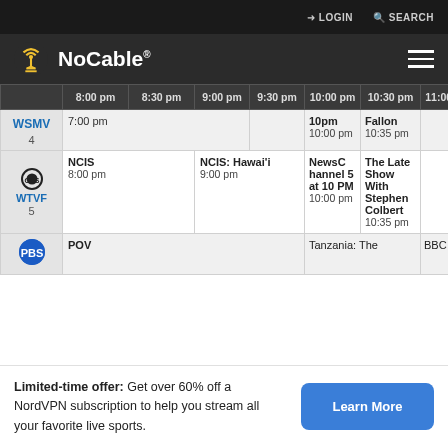LOGIN  SEARCH
NoCable
|  | 8:00 pm | 8:30 pm | 9:00 pm | 9:30 pm | 10:00 pm | 10:30 pm | 11:00 pm | 11: |
| --- | --- | --- | --- | --- | --- | --- | --- | --- |
| WSMV 4 | 7:00 pm |  |  |  | 10pm 10:00 pm | Fallon 10:35 pm |  | 11:3 |
| CBS WTVF 5 | NCIS 8:00 pm |  | NCIS: Hawai'i 9:00 pm |  | NewsChannel 5 at 10 PM 10:00 pm | The Late Show With Stephen Colbert 10:35 pm |  | The Sho... Con... 11:3 |
| PBS | POV |  |  |  | Tanzania: The |  | BBC | Con |
Limited-time offer: Get over 60% off a NordVPN subscription to help you stream all your favorite live sports.
Learn More